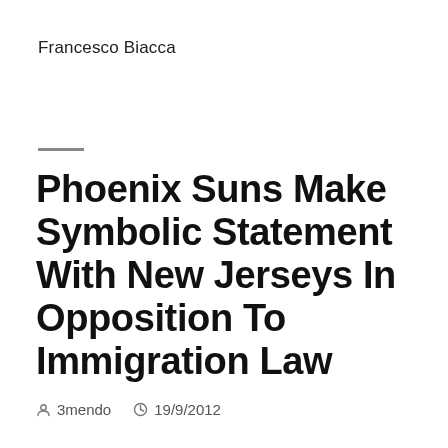Francesco Biacca
Phoenix Suns Make Symbolic Statement With New Jerseys In Opposition To Immigration Law
3mendo   19/9/2012